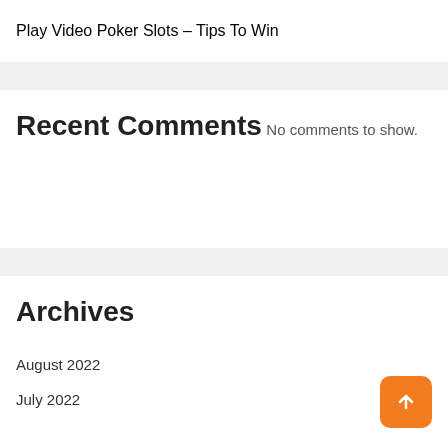Play Video Poker Slots – Tips To Win
Recent Comments
No comments to show.
Archives
August 2022
July 2022